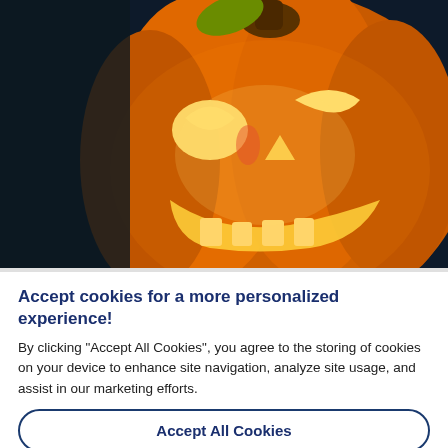[Figure (photo): A glowing jack-o-lantern pumpkin with carved face (eyes, nose, teeth), illuminated from inside with warm yellow-orange light against a dark background.]
Accept cookies for a more personalized experience!
By clicking “Accept All Cookies”, you agree to the storing of cookies on your device to enhance site navigation, analyze site usage, and assist in our marketing efforts.
Accept All Cookies
Manage your choices